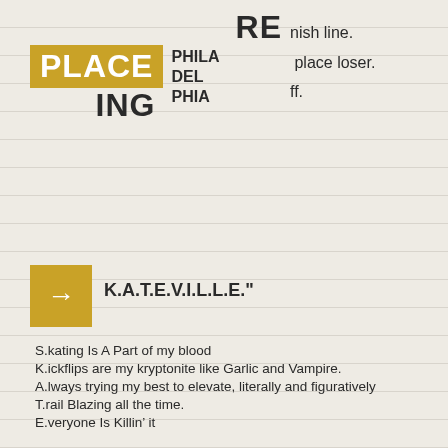REPLACING PHILADELPHIA
nish line.
 place loser.
 ff.
[Figure (other): Gold arrow box icon with right-pointing arrow]
K.A.T.E.V.I.L.L.E."
S.kating Is A Part of my blood
K.ickflips are my kryptonite like Garlic and Vampire.
A.lways trying my best to elevate, literally and figuratively
T.rail Blazing all the time.
E.veryone Is Killin' it
V.ans sneakers are what will keep you from bailing.
I.n Rebellion against the lime-light.
L.ook like a pro.
L.ive like a learner.